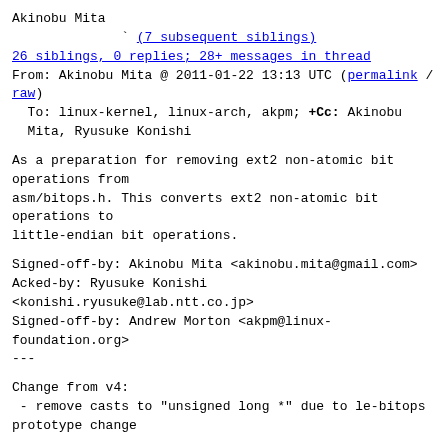Akinobu Mita
(7 subsequent siblings)
26 siblings, 0 replies; 28+ messages in thread
From: Akinobu Mita @ 2011-01-22 13:13 UTC (permalink / raw)
To: linux-kernel, linux-arch, akpm; +Cc: Akinobu Mita, Ryusuke Konishi
As a preparation for removing ext2 non-atomic bit operations from
asm/bitops.h.  This converts ext2 non-atomic bit operations to
little-endian bit operations.
Signed-off-by: Akinobu Mita <akinobu.mita@gmail.com>
Acked-by: Ryusuke Konishi
<konishi.ryusuke@lab.ntt.co.jp>
Signed-off-by: Andrew Morton <akpm@linux-foundation.org>
---
Change from v4:
 - remove casts to "unsigned long *" due to le-bitops prototype change
The whole series is available in the git branch at:
git://git.kernel.org/pub/scm/linux/kernel/git/mita/linux-2.6.git le-bitops-v5